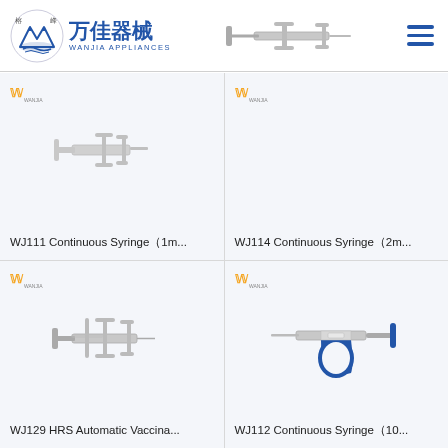[Figure (logo): Wanjia Appliances logo with mountain/wave icon, Chinese text 万佳器械, English WANJIA APPLIANCES]
[Figure (photo): Continuous syringe product photo in header, metal instrument with wing handles]
[Figure (photo): WJ111 Continuous Syringe 1m... product card with small Wanjia logo]
WJ111 Continuous Syringe（1m...
[Figure (photo): WJ114 Continuous Syringe 2m... product card with small Wanjia logo]
WJ114 Continuous Syringe（2m...
[Figure (photo): WJ129 HRS Automatic Vaccinator product card, metal syringe with cross handle, small Wanjia logo]
WJ129 HRS Automatic Vaccina...
[Figure (photo): WJ112 Continuous Syringe 10... product card, syringe with blue pistol grip handle, small Wanjia logo]
WJ112 Continuous Syringe（10...